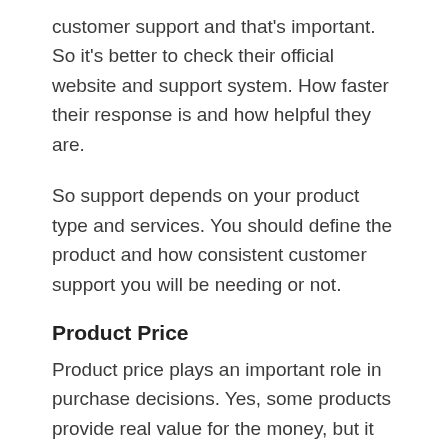customer support and that's important. So it's better to check their official website and support system. How faster their response is and how helpful they are.
So support depends on your product type and services. You should define the product and how consistent customer support you will be needing or not.
Product Price
Product price plays an important role in purchase decisions. Yes, some products provide real value for the money, but it does